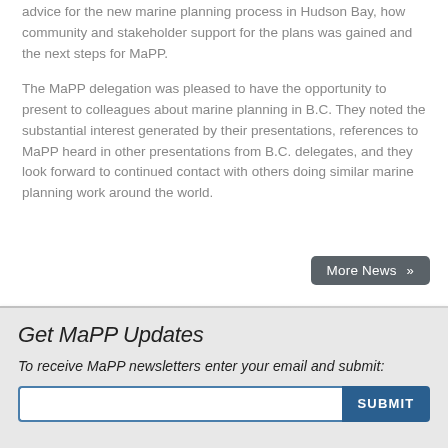advice for the new marine planning process in Hudson Bay, how community and stakeholder support for the plans was gained and the next steps for MaPP.
The MaPP delegation was pleased to have the opportunity to present to colleagues about marine planning in B.C. They noted the substantial interest generated by their presentations, references to MaPP heard in other presentations from B.C. delegates, and they look forward to continued contact with others doing similar marine planning work around the world.
More News »
Get MaPP Updates
To receive MaPP newsletters enter your email and submit: